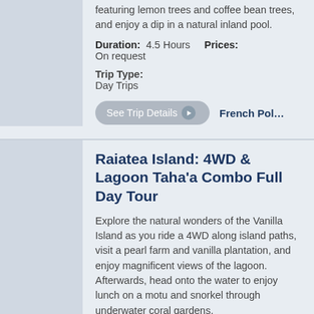featuring lemon trees and coffee bean trees, and enjoy a dip in a natural inland pool.
Duration: 4.5 Hours    Prices: On request
Trip Type: Day Trips
See Trip Details   French Pol...
Raiatea Island: 4WD & Lagoon Taha’a Combo Full Day Tour
Explore the natural wonders of the Vanilla Island as you ride a 4WD along island paths, visit a pearl farm and vanilla plantation, and enjoy magnificent views of the lagoon. Afterwards, head onto the water to enjoy lunch on a motu and snorkel through underwater coral gardens.